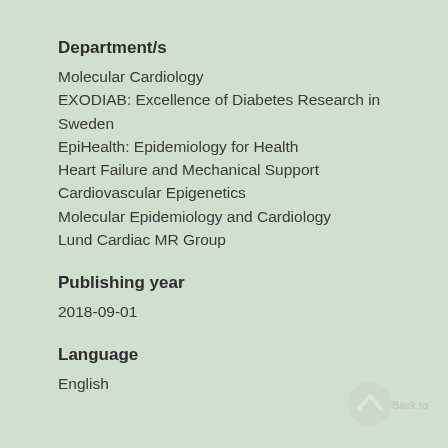Department/s
Molecular Cardiology
EXODIAB: Excellence of Diabetes Research in Sweden
EpiHealth: Epidemiology for Health
Heart Failure and Mechanical Support
Cardiovascular Epigenetics
Molecular Epidemiology and Cardiology
Lund Cardiac MR Group
Publishing year
2018-09-01
Language
English